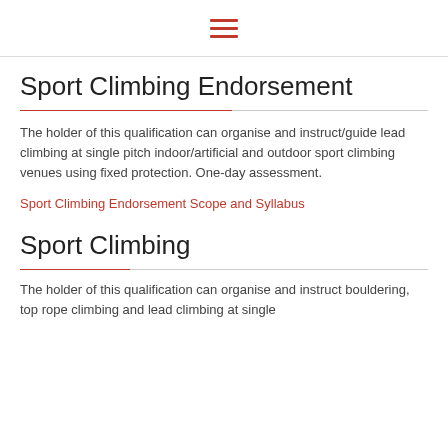≡ (hamburger menu icon)
Sport Climbing Endorsement
The holder of this qualification can organise and instruct/guide lead climbing at single pitch indoor/artificial and outdoor sport climbing venues using fixed protection. One-day assessment.
Sport Climbing Endorsement Scope and Syllabus
Sport Climbing
The holder of this qualification can organise and instruct bouldering, top rope climbing and lead climbing at single